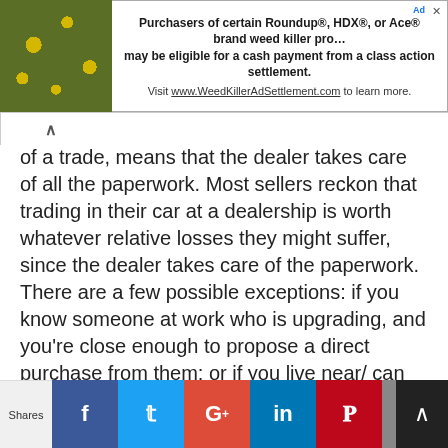[Figure (screenshot): Advertisement banner for Roundup, HDX, or Ace brand weed killer class action settlement. Includes a photo of yellow flowers and text about eligibility for cash payment. Visit www.WeedKillerAdSettlement.com to learn more.]
of a trade, means that the dealer takes care of all the paperwork. Most sellers reckon that trading in their car at a dealership is worth whatever relative losses they might suffer, since the dealer takes care of the paperwork. There are a few possible exceptions: if you know someone at work who is upgrading, and you're close enough to propose a direct purchase from them; or if you live near/ can get to a US military base in Japan, where the economy is decidedly more American-style, and servicemen and women tend to sell their vehicles directly. In either of these cases, this guide may not help you much.
Local business web presence is nearly non-existent
Shares  [Facebook] [Twitter] [Google+] [LinkedIn] [Pinterest] [Email] [Bookmark]